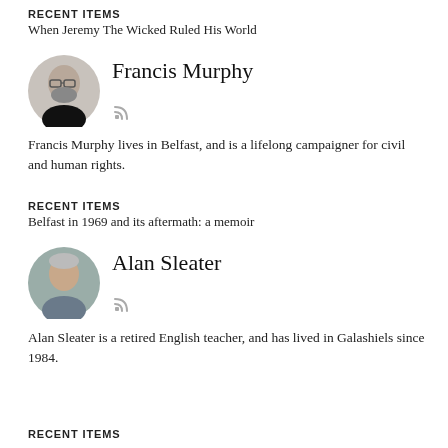RECENT ITEMS
When Jeremy The Wicked Ruled His World
[Figure (photo): Circular avatar photo of Francis Murphy, a man with glasses and a beard wearing a black top]
Francis Murphy
Francis Murphy lives in Belfast, and is a lifelong campaigner for civil and human rights.
RECENT ITEMS
Belfast in 1969 and its aftermath: a memoir
[Figure (photo): Circular avatar photo of Alan Sleater, a man with grey hair]
Alan Sleater
Alan Sleater is a retired English teacher, and has lived in Galashiels since 1984.
RECENT ITEMS